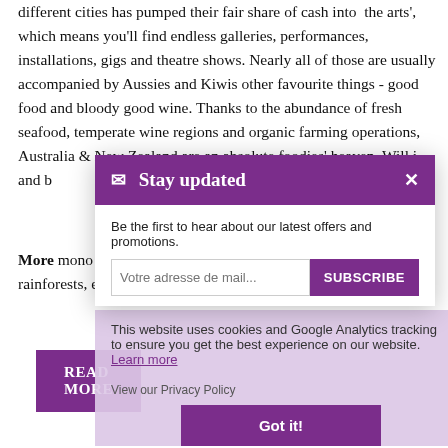different cities has pumped their fair share of cash into 'the arts', which means you'll find endless galleries, performances, installations, gigs and theatre shows. Nearly all of those are usually accompanied by Aussies and Kiwis other favourite things - good food and bloody good wine. Thanks to the abundance of fresh seafood, temperate wine regions and organic farming operations, Australia & New Zealand are an absolute foodies' heaven. Will i... and b...
[Figure (screenshot): A modal popup with purple header reading 'Stay updated' (with envelope icon and X close button), body text 'Be the first to hear about our latest offers and promotions.', an email input field with placeholder 'Votre adresse de mail...' and a purple SUBSCRIBE button.]
[Figure (screenshot): A cookie consent notice overlay reading 'This website uses cookies and Google Analytics tracking to ensure you get the best experience on our website.' with a 'View our Privacy Policy' link, a 'Learn more' link, and a purple 'Got it!' button.]
More... mono... Roto... Aust... biodi... clear waterholes, dense tropical rainforests, eternal deserts and fauna straight out of a fantasy.
READ MORE